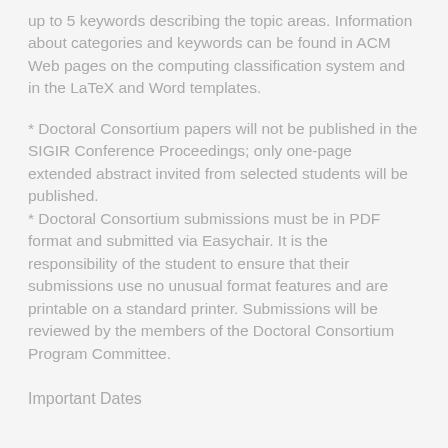up to 5 keywords describing the topic areas. Information about categories and keywords can be found in ACM Web pages on the computing classification system and in the LaTeX and Word templates.
* Doctoral Consortium papers will not be published in the SIGIR Conference Proceedings; only one-page extended abstract invited from selected students will be published.
* Doctoral Consortium submissions must be in PDF format and submitted via Easychair. It is the responsibility of the student to ensure that their submissions use no unusual format features and are printable on a standard printer. Submissions will be reviewed by the members of the Doctoral Consortium Program Committee.
Important Dates